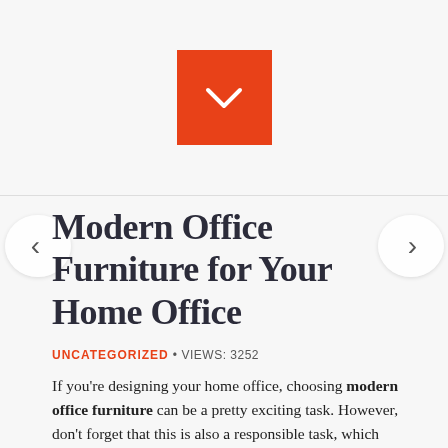[Figure (other): Orange/red square button with a white downward chevron arrow icon]
Modern Office Furniture for Your Home Office
UNCATEGORIZED • VIEWS: 3252
If you're designing your home office, choosing modern office furniture can be a pretty exciting task. However, don't forget that this is also a responsible task, which requires some thought and planning. In this post, we will give you a few tips on choosing